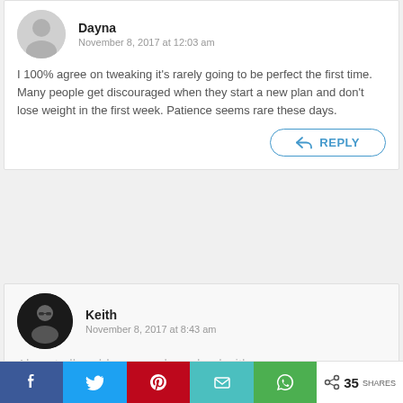Dayna
November 8, 2017 at 12:03 am
I 100% agree on tweaking it's rarely going to be perfect the first time. Many people get discouraged when they start a new plan and don't lose weight in the first week. Patience seems rare these days.
REPLY
Keith
November 8, 2017 at 8:43 am
Almost all problems can be solved with some
35 SHARES